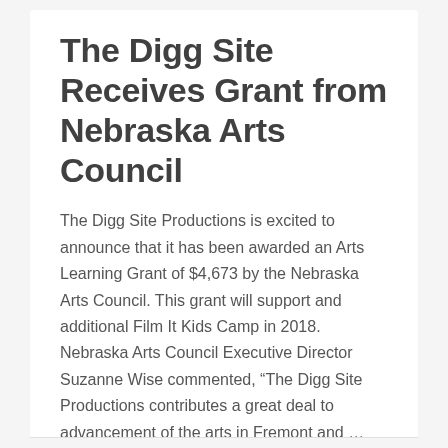The Digg Site Receives Grant from Nebraska Arts Council
The Digg Site Productions is excited to announce that it has been awarded an Arts Learning Grant of $4,673 by the Nebraska Arts Council. This grant will support and additional Film It Kids Camp in 2018. Nebraska Arts Council Executive Director Suzanne Wise commented, “The Digg Site Productions contributes a great deal to advancement of the arts in Fremont and …
Read More